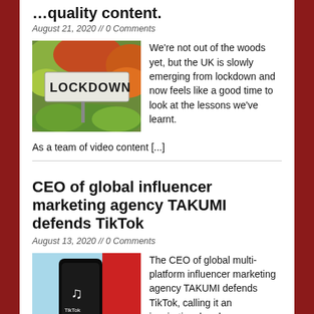…quality content.
August 21, 2020 // 0 Comments
[Figure (photo): A street sign reading LOCKDOWN surrounded by greenery and red-leafed trees]
We're not out of the woods yet, but the UK is slowly emerging from lockdown and now feels like a good time to look at the lessons we've learnt. As a team of video content [...]
CEO of global influencer marketing agency TAKUMI defends TikTok
August 13, 2020 // 0 Comments
[Figure (photo): A hand holding a smartphone with TikTok app open, against a light blue and red background]
The CEO of global multi-platform influencer marketing agency TAKUMI defends TikTok, calling it an inspirational and